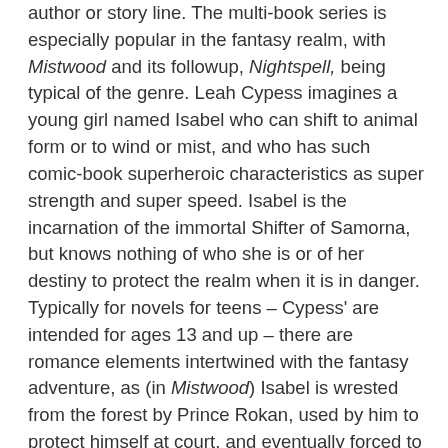author or story line. The multi-book series is especially popular in the fantasy realm, with Mistwood and its followup, Nightspell, being typical of the genre. Leah Cypess imagines a young girl named Isabel who can shift to animal form or to wind or mist, and who has such comic-book superheroic characteristics as super strength and super speed. Isabel is the incarnation of the immortal Shifter of Samorna, but knows nothing of who she is or of her destiny to protect the realm when it is in danger. Typically for novels for teens – Cypess' are intended for ages 13 and up – there are romance elements intertwined with the fantasy adventure, as (in Mistwood) Isabel is wrested from the forest by Prince Rokan, used by him to protect himself at court, and eventually forced to figure out where her loyalty and her heart really need her to go. The book is all about using and being used: “These weren’t the people she was meant to protect. They had fooled her into thinking they were, even after she should have known better, but that didn’t matter anymore. She didn’t have to care about what happened to them. She didn’t have to care about what happened to anyone.” But of course Isabel does care, and thus this tale of a sort-of-goddess is also a coming-of-age romance, as are so many modern fantasies. ‘“Legends don’t laugh, or argue, or make sly remarks. Legends don’t want and need and feel,’” she is told at one point; but of course Isabel does all